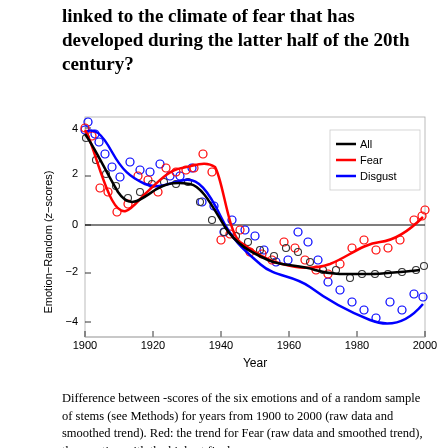linked to the climate of fear that has developed during the latter half of the 20th century?
[Figure (continuous-plot): Line chart showing Emotion-Random (z-scores) vs Year from 1900 to 2000. Three smoothed trend lines: black (All), red (Fear), blue (Disgust), with scattered open circles as raw data points. All start high (~3-4) in 1900, decline through mid-century with a bump around 1920-1930, reach near 0 around 1940, then diverge: Fear rises back toward -0.5 by 2000, All stays around -2, Disgust drops steeply to about -3 by 2000.]
Difference between -scores of the six emotions and of a random sample of stems (see Methods) for years from 1900 to 2000 (raw data and smoothed trend). Red: the trend for Fear (raw data and smoothed trend), the emotion with the highest final